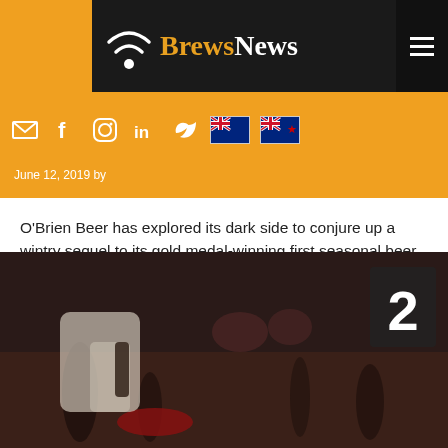BrewsNews
O'Brien Beer has explored its dark side to conjure up a wintry sequel to its gold medal-winning first seasonal beer release.
Category: Media Releases Tagged: gluten free, O'Brien Beer, schwarzbier
[Figure (photo): Blurred photo of a formal dinner setting with a person pouring beer and a table number '2' sign visible]